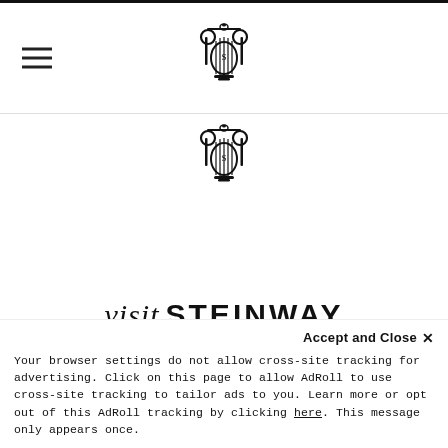Steinway website header with hamburger menu and logo
[Figure (logo): Steinway lyre logo centered in page body]
visit STEINWAY
Find a retail location to see a STEINWAY
Accept and Close ✕
Your browser settings do not allow cross-site tracking for advertising. Click on this page to allow AdRoll to use cross-site tracking to tailor ads to you. Learn more or opt out of this AdRoll tracking by clicking here. This message only appears once.